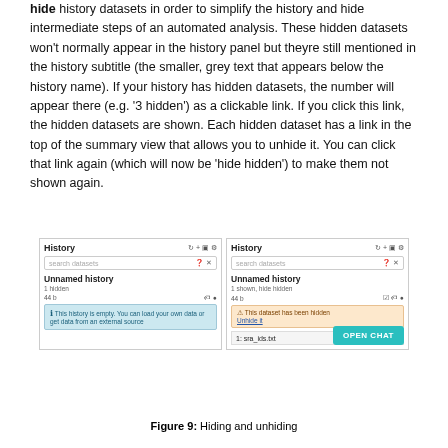hide history datasets in order to simplify the history and hide intermediate steps of an automated analysis. These hidden datasets won't normally appear in the history panel but theyre still mentioned in the history subtitle (the smaller, grey text that appears below the history name). If your history has hidden datasets, the number will appear there (e.g. '3 hidden') as a clickable link. If you click this link, the hidden datasets are shown. Each hidden dataset has a link in the top of the summary view that allows you to unhide it. You can click that link again (which will now be 'hide hidden') to make them not shown again.
[Figure (screenshot): Two side-by-side Galaxy history panels showing hidden and shown datasets. Left panel: Unnamed history with '1 hidden' subtitle and an empty history info box. Right panel: Unnamed history with '1 shown, hide hidden' subtitle and a dataset '1: sra_ids.txt' shown with a warning box saying 'This dataset has been hidden. Unhide it'.]
Figure 9: Hiding and unhiding